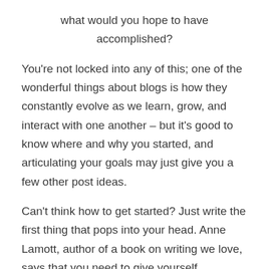what would you hope to have accomplished?
You're not locked into any of this; one of the wonderful things about blogs is how they constantly evolve as we learn, grow, and interact with one another – but it's good to know where and why you started, and articulating your goals may just give you a few other post ideas.
Can't think how to get started? Just write the first thing that pops into your head. Anne Lamott, author of a book on writing we love, says that you need to give yourself permission to write a "crappy first draft". Anne makes a great point – just start writing, and worry about editing it later.
When you're ready to publish, give your post three to